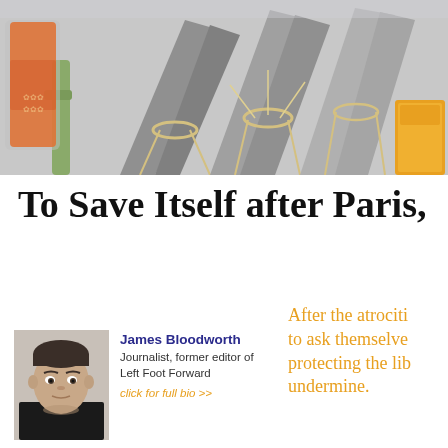[Figure (photo): Flowers and candles wrapped in grey paper, a memorial tribute, displayed on a surface. Orange candle in glass jar on the left, yellow candle on the right.]
To Save Itself after Paris,
[Figure (photo): Headshot of James Bloodworth, a man with dark hair, looking directly at camera.]
James Bloodworth
Journalist, former editor of Left Foot Forward
click for full bio >>
After the atrocities to ask themselves protecting the lib undermine.